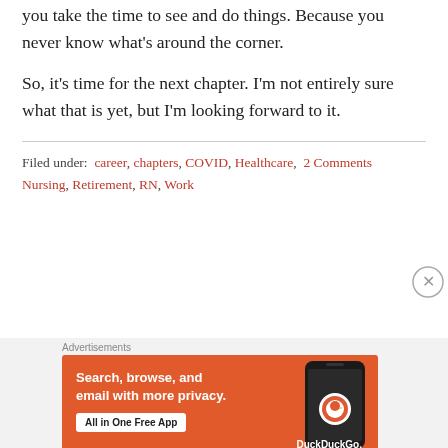you take the time to see and do things. Because you never know what's around the corner.
So, it's time for the next chapter. I'm not entirely sure what that is yet, but I'm looking forward to it.
Filed under: career, chapters, COVID, Healthcare, 2 Comments Nursing, Retirement, RN, Work
[Figure (screenshot): DuckDuckGo advertisement banner with orange background. Text: 'Search, browse, and email with more privacy. All in One Free App'. Shows a phone with DuckDuckGo logo.]